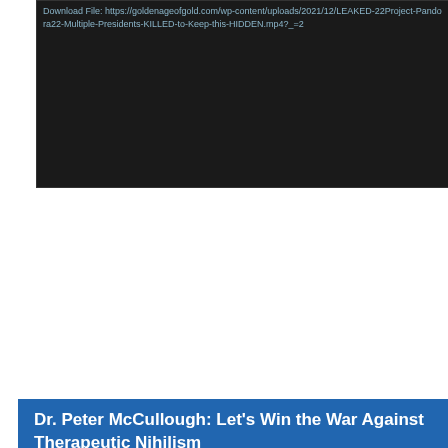[Figure (screenshot): Dark video player showing a download URL link for an mp4 file at the top, with a mostly black video area below]
Download File: https://goldenageofgold.com/wp-content/uploads/2021/12/LEAKED-22Project-Pandora22-Multiple-Presidents-KILLED-to-Keep-this-HIDDEN.mp4?_=2
Dr. Peter McCullough: Let’s Win the War Against Therapeutic Nihilism
[Figure (screenshot): Video player thumbnail showing Dr. Peter McCullough speaking at a podium with a laptop, wearing a dark suit with striped tie, with a red play button overlay and video controls at the bottom showing 00:00 timecode]